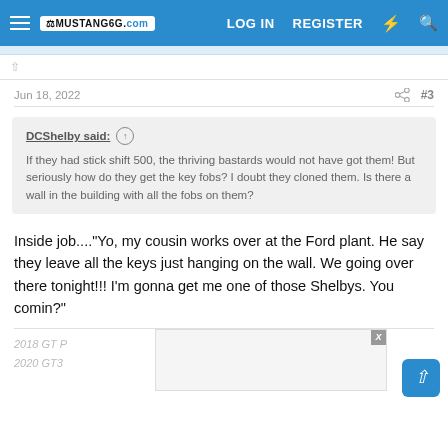Mustang6G.com — LOG IN | REGISTER
Jun 18, 2022  #3
DCShelby said: ↑ If they had stick shift 500, the thriving bastards would not have got them! But seriously how do they get the key fobs? I doubt they cloned them. Is there a wall in the building with all the fobs on them?
Inside job...."Yo, my cousin works over at the Ford plant. He say they leave all the keys just hanging on the wall. We going over there tonight!!! I'm gonna get me one of those Shelbys. You comin?"
2018 GT P
2020 GT3